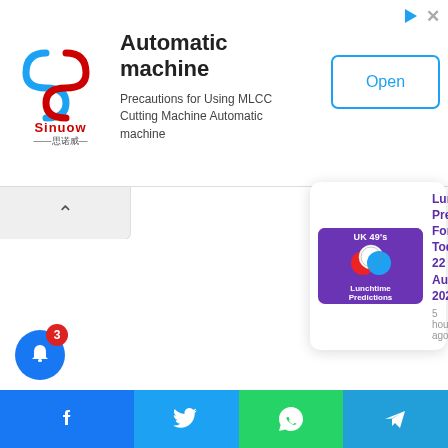[Figure (screenshot): Advertisement banner for Sinuow Automatic machine. Shows Sinuow logo on left, title 'Automatic machine', subtitle 'Precautions for Using MLCC Cutting Machine Automatic machine', and an 'Open' button on the right. Top right has play and close icons.]
[Figure (screenshot): Collapse/accordion bar with an up-arrow chevron icon on a light grey background, partially visible below the ad banner.]
[Figure (screenshot): Close (X) button - dark circular button with white X letter, positioned in the lower right area of the page.]
[Figure (screenshot): Article notification card showing 'UK 49's Lunchtime Predictions' thumbnail in purple and article headline 'Lunchtime Prediction For Today 22 August 2022' with timestamp '5 hours ago'.]
[Figure (screenshot): Bottom navigation/share bar with blue Facebook area on left (showing a bell icon with red badge showing '3'), then Twitter (blue bird), WhatsApp (green), and Telegram (blue paper plane) icons.]